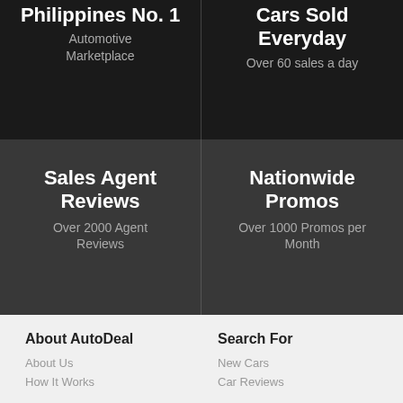Philippines No. 1
Automotive Marketplace
Cars Sold Everyday
Over 60 sales a day
Sales Agent Reviews
Over 2000 Agent Reviews
Nationwide Promos
Over 1000 Promos per Month
About AutoDeal
About Us
How It Works
Search For
New Cars
Car Reviews